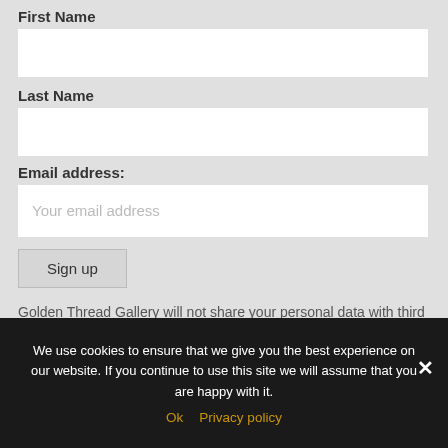First Name
Last Name
Email address:
Your email address
Sign up
Golden Thread Gallery will not share your personal data with third parties, see our website privacy policy. If you have a query about our e-bulletins, please contact us.
We use cookies to ensure that we give you the best experience on our website. If you continue to use this site we will assume that you are happy with it.
Ok
Privacy policy